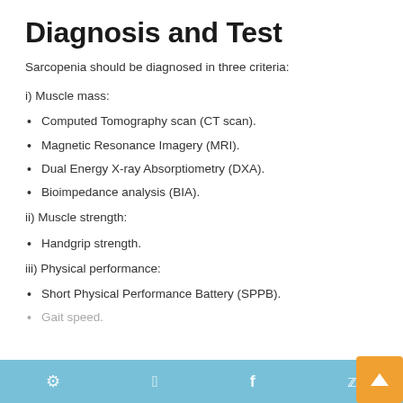Diagnosis and Test
Sarcopenia should be diagnosed in three criteria:
i) Muscle mass:
Computed Tomography scan (CT scan).
Magnetic Resonance Imagery (MRI).
Dual Energy X-ray Absorptiometry (DXA).
Bioimpedance analysis (BIA).
ii) Muscle strength:
Handgrip strength.
iii) Physical performance:
Short Physical Performance Battery (SPPB).
Gait speed.